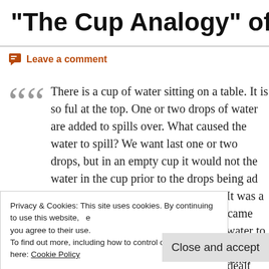“The Cup Analogy” of Emo
Leave a comment
There is a cup of water sitting on a table. It is so ful at the top. One or two drops of water are added to spills over. What caused the water to spill? We want last one or two drops, but in an empty cup it would not the water in the cup prior to the drops being ad left alone, it would not have spilled. It was a combi drops of water in the cup that came before and the drops that caused the water to spill. In a person’s li the cup is symbolic of all the hurt, pain, shame, hu loss not dealt with along the way. The last couple o
Privacy & Cookies: This site uses cookies. By continuing to use this website, you agree to their use.
To find out more, including how to control cookies, see here: Cookie Policy
Close and accept
not cause someone to end their life. It is the combi